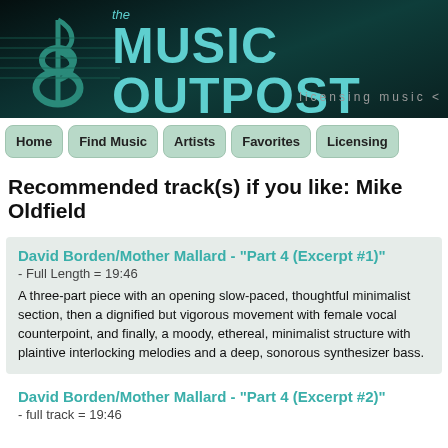[Figure (logo): The Music Outpost logo banner with teal treble clef and text 'the MUSIC OUTPOST' on dark teal/black background, with 'licensing music' tagline]
Home | Find Music | Artists | Favorites | Licensing
Recommended track(s) if you like: Mike Oldfield
David Borden/Mother Mallard - "Part 4 (Excerpt #1)"
- Full Length = 19:46
A three-part piece with an opening slow-paced, thoughtful minimalist section, then a dignified but vigorous movement with female vocal counterpoint, and finally, a moody, ethereal, minimalist structure with plaintive interlocking melodies and a deep, sonorous synthesizer bass.
David Borden/Mother Mallard - "Part 4 (Excerpt #2)"
- full track = 19:46